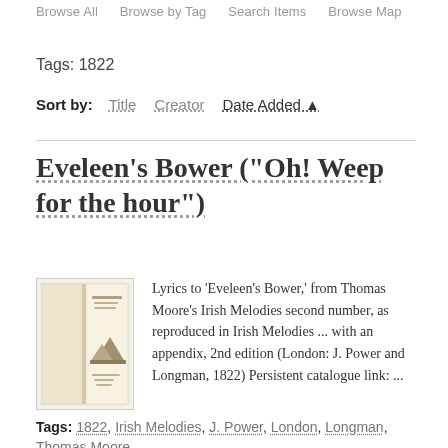Browse All   Browse by Tag   Search Items   Browse Map
Tags: 1822
Sort by:   Title   Creator   Date Added ▲
Eveleen's Bower ("Oh! Weep for the hour")
Lyrics to 'Eveleen's Bower,' from Thomas Moore's Irish Melodies second number, as reproduced in Irish Melodies ... with an appendix, 2nd edition (London: J. Power and Longman, 1822) Persistent catalogue link: ...
Tags: 1822, Irish Melodies, J. Power, London, Longman, Thomas Moore